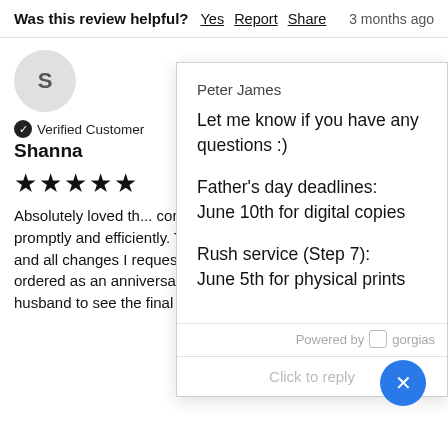Was this review helpful? Yes Report Share   3 months ago
[Figure (screenshot): Avatar circle with letter S for reviewer Shanna]
Verified Customer
Shanna
★★★★★
Absolutely loved th... communicated thr... promptly and efficiently. They adjusted and made any and all changes I requested. Great customer se... I ordered as an anniversary gift and I cant wait [for my] husband to see the final product.
Peter James
Let me know if you have any questions :)
Father's day deadlines:
June 10th for digital copies
Rush service (Step 7):
June 5th for physical prints
Powered by gorgias
Click to reply